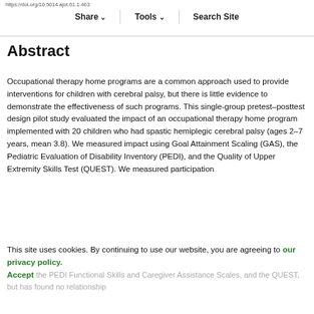https://doi.org/10.5014.ajot.61.1.463   Share   Tools   Search Site
Abstract
Occupational therapy home programs are a common approach used to provide interventions for children with cerebral palsy, but there is little evidence to demonstrate the effectiveness of such programs. This single-group pretest–posttest design pilot study evaluated the impact of an occupational therapy home program implemented with 20 children who had spastic hemiplegic cerebral palsy (ages 2–7 years, mean 3.8). We measured impact using Goal Attainment Scaling (GAS), the Pediatric Evaluation of Disability Inventory (PEDI), and the Quality of Upper Extremity Skills Test (QUEST). We measured participation
This site uses cookies. By continuing to use our website, you are agreeing to our privacy policy.
Accept
the PEDI Functional Skills and Caregiver Assistance Scales, and the QUEST, but has found no relationship